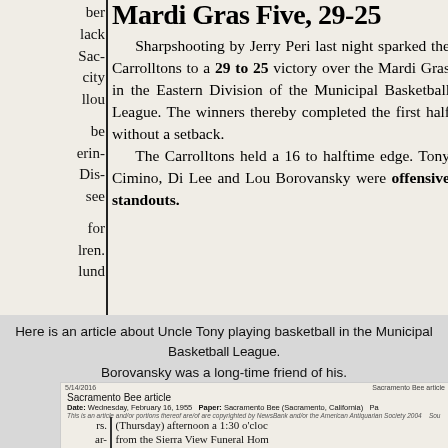Mardi Gras Five, 29-25
Sharpshooting by Jerry Peri last night sparked the Carrolltons to a 29 to 25 victory over the Mardi Gras in the Eastern Division of the Municipal Basketball League. The winners thereby completed the first half without a setback. The Carrolltons held a 16 to halftime edge. Tony Cimino, Di Lee and Lou Borovansky were offensive standouts.
Here is an article about Uncle Tony playing basketball in the Municipal Basketball League. Borovansky was a long-time friend of his.
Sacramento Bee article
Date: Wednesday, February 16, 1955  Paper: Sacramento Bee (Sacramento, California)
This is an article about Uncle Tony playing basketball in the Municipal Basketball League.
(Thursday) afternoon a 1:30 o'clock from the Sierra View Funeral Home 2701 North Fair Oaks Boulevard, Carmichael. Interment Fair Oaks Cemetery.